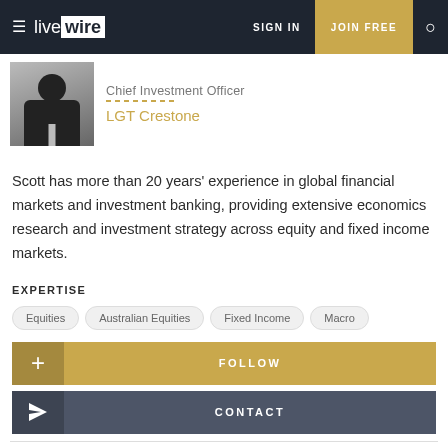live wire | SIGN IN | JOIN FREE
Chief Investment Officer
LGT Crestone
Scott has more than 20 years' experience in global financial markets and investment banking, providing extensive economics research and investment strategy across equity and fixed income markets.
EXPERTISE
Equities
Australian Equities
Fixed Income
Macro
FOLLOW
CONTACT